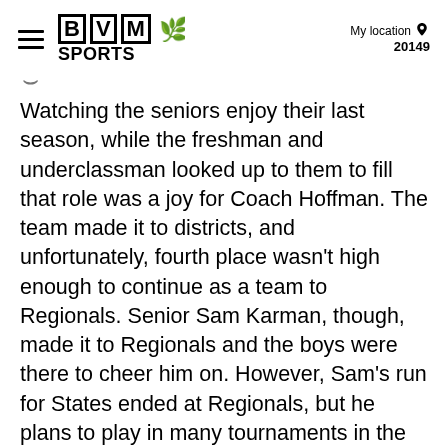BVM SPORTS — My location 20149
Watching the seniors enjoy their last season, while the freshman and underclassman looked up to them to fill that role was a joy for Coach Hoffman. The team made it to districts, and unfortunately, fourth place wasn't high enough to continue as a team to Regionals. Senior Sam Karman, though, made it to Regionals and the boys were there to cheer him on. However, Sam's run for States ended at Regionals, but he plans to play in many tournaments in the upcoming months.
Hoffman said, “This year was VERY different with COVID – but we were just happy to have